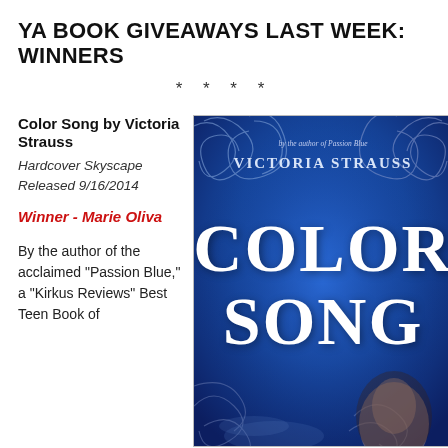YA BOOK GIVEAWAYS LAST WEEK: WINNERS
* * * *
Color Song by Victoria Strauss
Hardcover Skyscape Released 9/16/2014
Winner - Marie Oliva
By the author of the acclaimed "Passion Blue," a "Kirkus Reviews" Best Teen Book of
[Figure (photo): Book cover of 'Color Song' by Victoria Strauss. Blue decorative cover with ornate swirling designs, large white stylized title text 'Color Song', author name 'Victoria Strauss' at top, and a girl's face visible at the bottom. Subtitle reads 'by the author of Passion Blue'.]